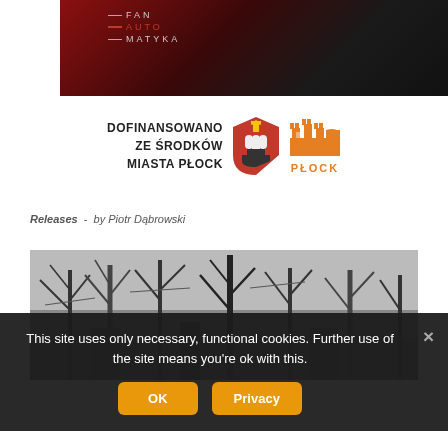[Figure (logo): Fan Auto Matyka website header banner with dark red to black gradient background and logo text with horizontal lines]
[Figure (logo): Dofinansowano ze środków Miasta Płock - funding logo with Płock coat of arms and orange castle Płock logo]
Releases  -  by Piotr Dąbrowski
[Figure (photo): Black and white photograph of bare winter trees in a park or forest]
This site uses only necessary, functional cookies. Further use of the site means you're ok with this.